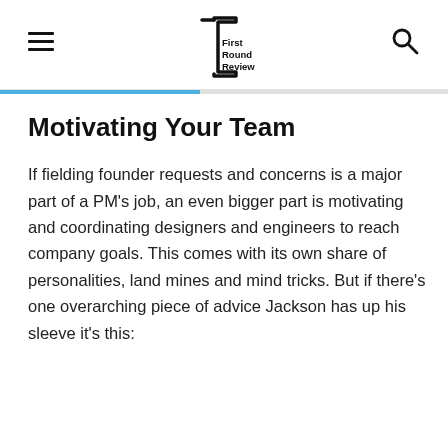First Round Review
Motivating Your Team
If fielding founder requests and concerns is a major part of a PM's job, an even bigger part is motivating and coordinating designers and engineers to reach company goals. This comes with its own share of personalities, land mines and mind tricks. But if there's one overarching piece of advice Jackson has up his sleeve it's this: